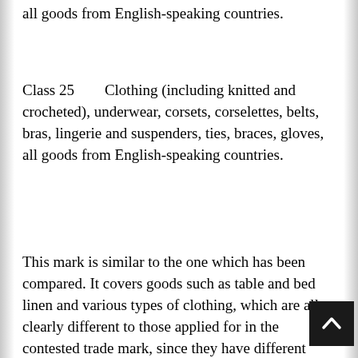all goods from English-speaking countries.
Class 25        Clothing (including knitted and crocheted), underwear, corsets, corselettes, belts, bras, lingerie and suspenders, ties, braces, gloves, all goods from English-speaking countries.
This mark is similar to the one which has been compared. It covers goods such as table and bed linen and various types of clothing, which are all clearly different to those applied for in the contested trade mark, since they have different natures, purposes and methods of use. The